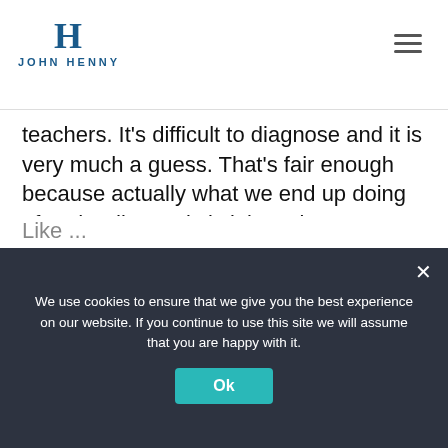John Henny
teachers. It’s difficult to diagnose and it is very much a guess. That’s fair enough because actually what we end up doing after the diagnosis is it just gives us our very best guess based on the things we ruled out, right? So it’s not even a hundred percent. But our guesses are based on our biases and our biases are numerous, even for the people who feel impartial.
We use cookies to ensure that we give you the best experience on our website. If you continue to use this site we will assume that you are happy with it.